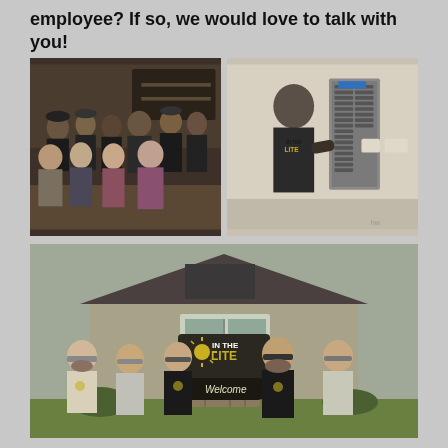employee? If so, we would love to talk with you!
[Figure (photo): Group photo of In The Lite employees standing indoors in front of a dark wall with shelving]
[Figure (photo): In The Lite employee in branded t-shirt working on an electrical panel mounted on a wall]
[Figure (photo): Group of five In The Lite employees standing outside in front of a company Welcome sign and building]